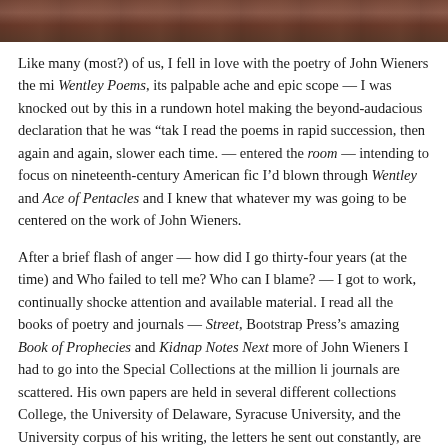[Figure (photo): Partial photograph at top of page, appears to show an interior scene with warm reddish-brown tones]
Like many (most?) of us, I fell in love with the poetry of John Wieners the mi Wentley Poems, its palpable ache and epic scope — I was knocked out by this in a rundown hotel making the beyond-audacious declaration that he was "tak I read the poems in rapid succession, then again and again, slower each time. — entered the room — intending to focus on nineteenth-century American fic I'd blown through Wentley and Ace of Pentacles and I knew that whatever my was going to be centered on the work of John Wieners.
After a brief flash of anger — how did I go thirty-four years (at the time) and Who failed to tell me? Who can I blame? — I got to work, continually shocke attention and available material. I read all the books of poetry and journals — Street, Bootstrap Press's amazing Book of Prophecies and Kidnap Notes Next more of John Wieners I had to go into the Special Collections at the million li journals are scattered. His own papers are held in several different collections College, the University of Delaware, Syracuse University, and the University corpus of his writing, the letters he sent out constantly, are dispersed far beyon writers' papers and private collections.